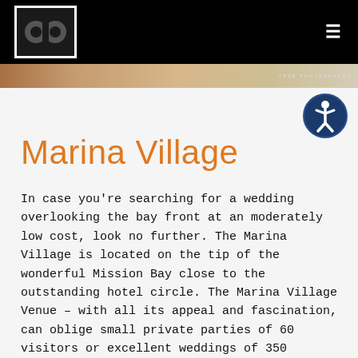OC logo and navigation menu
[Figure (photo): Partial photo strip showing a wedding or event scene with photo credit 'TRUE PHOTOGRAPHY']
[Figure (illustration): Accessibility icon - circle with person figure in dark blue]
Marina Village
In case you're searching for a wedding overlooking the bay front at an moderately low cost, look no further. The Marina Village is located on the tip of the wonderful Mission Bay close to the outstanding hotel circle. The Marina Village Venue – with all its appeal and fascination, can oblige small private parties of 60 visitors or excellent weddings of 350 guests. This venue is designed to fit crowds of all sizes. Be sure to add this one to your list